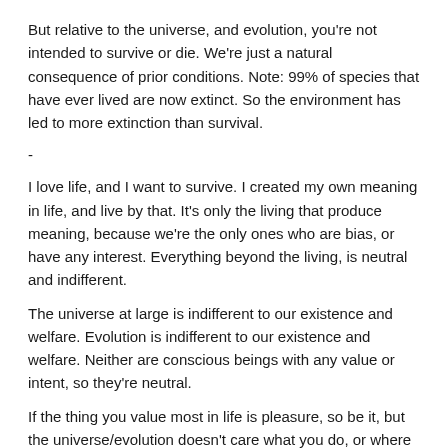But relative to the universe, and evolution, you're not intended to survive or die. We're just a natural consequence of prior conditions. Note: 99% of species that have ever lived are now extinct. So the environment has led to more extinction than survival.
-
I love life, and I want to survive. I created my own meaning in life, and live by that. It's only the living that produce meaning, because we're the only ones who are bias, or have any interest. Everything beyond the living, is neutral and indifferent.
The universe at large is indifferent to our existence and welfare. Evolution is indifferent to our existence and welfare. Neither are conscious beings with any value or intent, so they're neutral.
If the thing you value most in life is pleasure, so be it, but the universe/evolution doesn't care what you do, or where you end up, and they don't have any apparent goal or objective for us.
Just like the sun that enables our existence. The sun doesn't care what we do, it just keeps on shining.